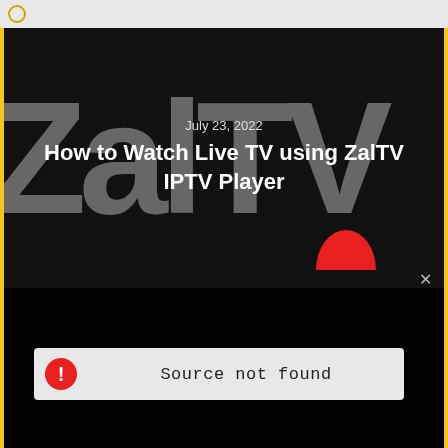[Figure (screenshot): Browser screenshot showing a ZalTV IPTV Player article page with a 'Source not found' error overlay. The page background shows the ZalTV logo text in large grey letters on black. An error dialog shows a red warning icon and the text 'Source not found' on a light grey background.]
July 23, 2022
How to Watch Live TV using ZalTV IPTV Player
Source not found